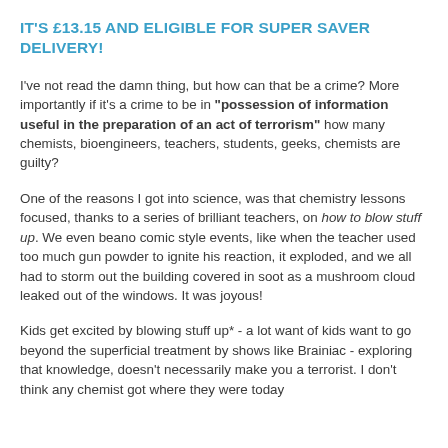IT'S £13.15 AND ELIGIBLE FOR SUPER SAVER DELIVERY!
I've not read the damn thing, but how can that be a crime? More importantly if it's a crime to be in "possession of information useful in the preparation of an act of terrorism" how many chemists, bioengineers, teachers, students, geeks, chemists are guilty?
One of the reasons I got into science, was that chemistry lessons focused, thanks to a series of brilliant teachers, on how to blow stuff up. We even beano comic style events, like when the teacher used too much gun powder to ignite his reaction, it exploded, and we all had to storm out the building covered in soot as a mushroom cloud leaked out of the windows. It was joyous!
Kids get excited by blowing stuff up* - a lot want of kids want to go beyond the superficial treatment by shows like Brainiac - exploring that knowledge, doesn't necessarily make you a terrorist. I don't think any chemist got where they were today